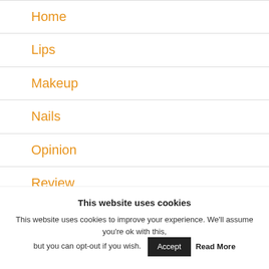Home
Lips
Makeup
Nails
Opinion
Review
Shopping
This website uses cookies
This website uses cookies to improve your experience. We'll assume you're ok with this, but you can opt-out if you wish.
Accept
Read More